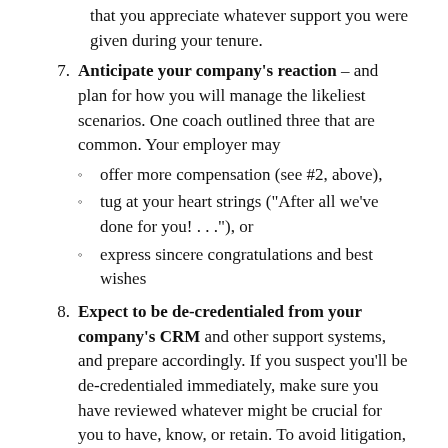that you appreciate whatever support you were given during your tenure.
7. Anticipate your company's reaction – and plan for how you will manage the likeliest scenarios. One coach outlined three that are common. Your employer may
offer more compensation (see #2, above),
tug at your heart strings ("After all we've done for you! . . ."), or
express sincere congratulations and best wishes
8. Expect to be de-credentialed from your company's CRM and other support systems, and prepare accordingly. If you suspect you'll be de-credentialed immediately, make sure you have reviewed whatever might be crucial for you to have, know, or retain. To avoid litigation, read the sections of your employee handbook that delineate what information you're allowed to take with you – and what you're not